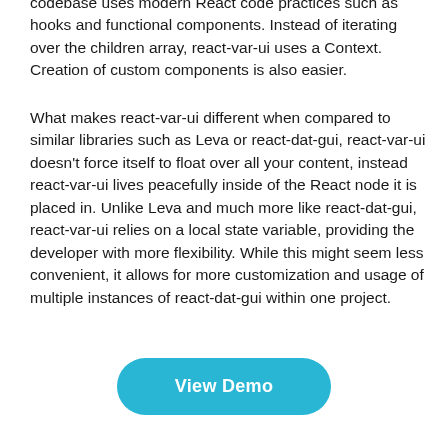codebase uses modern React code practices such as hooks and functional components. Instead of iterating over the children array, react-var-ui uses a Context. Creation of custom components is also easier.
What makes react-var-ui different when compared to similar libraries such as Leva or react-dat-gui, react-var-ui doesn't force itself to float over all your content, instead react-var-ui lives peacefully inside of the React node it is placed in. Unlike Leva and much more like react-dat-gui, react-var-ui relies on a local state variable, providing the developer with more flexibility. While this might seem less convenient, it allows for more customization and usage of multiple instances of react-dat-gui within one project.
View Demo